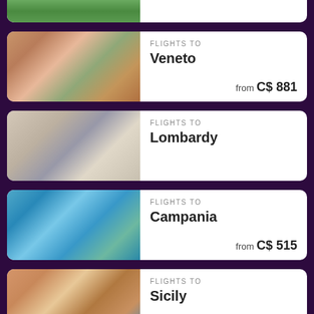[Figure (photo): Partial card at top, green landscape photo]
[Figure (photo): Colorful narrow street in Veneto, Italy with hanging laundry and pedestrians]
FLIGHTS TO
Veneto
from C$ 881
[Figure (photo): Tourists walking in a piazza in Lombardy, Italy]
FLIGHTS TO
Lombardy
[Figure (photo): Aerial view of coastal cliffs and harbor in Campania, Italy]
FLIGHTS TO
Campania
from C$ 515
[Figure (photo): Historic hilltop town in Sicily, Italy with terracotta buildings]
FLIGHTS TO
Sicily
from C$ 579
[Figure (photo): Partial card at bottom, blue sea/water photo]